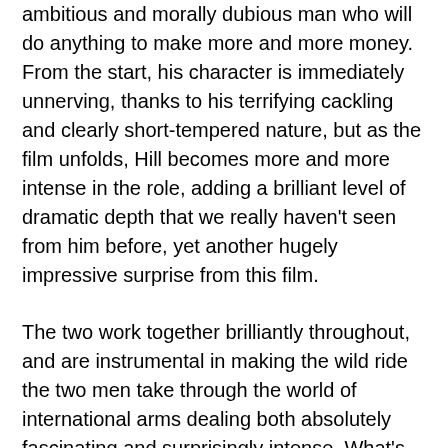ambitious and morally dubious man who will do anything to make more and more money. From the start, his character is immediately unnerving, thanks to his terrifying cackling and clearly short-tempered nature, but as the film unfolds, Hill becomes more and more intense in the role, adding a brilliant level of dramatic depth that we really haven't seen from him before, yet another hugely impressive surprise from this film.
The two work together brilliantly throughout, and are instrumental in making the wild ride the two men take through the world of international arms dealing both absolutely fascinating and surprisingly intense. What's more is that director Todd Phillips also plays a big role in getting those performances out of the actors.
In general, his direction here is excellent, as he directs two very contrasting on-screen personalities and ties them together brilliantly. The entire film's atmosphere is a stroke of genius, as